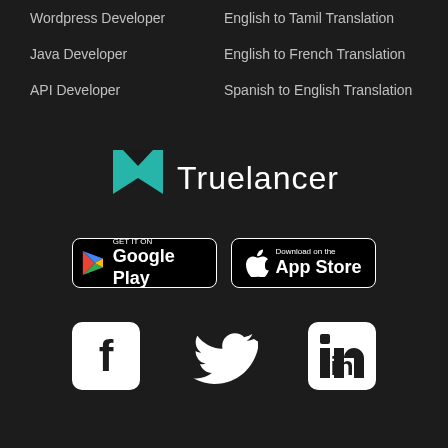Wordpress Developer
Java Developer
API Developer
English to Tamil Translation
English to French Translation
Spanish to English Translation
[Figure (logo): Truelancer logo with teal geometric arrow icon and white text]
[Figure (screenshot): Google Play store download button]
[Figure (screenshot): Apple App Store download button]
[Figure (logo): Facebook, Twitter, and LinkedIn social media icons]